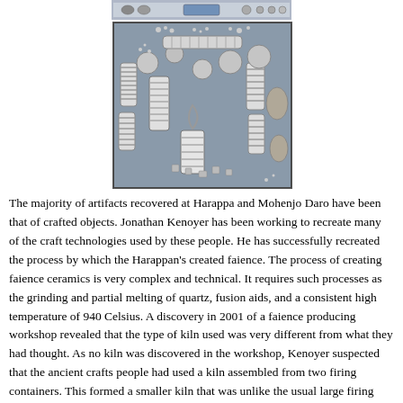[Figure (photo): Partial screenshot of a computer interface/toolbar at the top of the page]
[Figure (photo): Black and white photograph of Harappan artifacts including beaded necklaces, cylindrical beads, disc-shaped beads, and small objects laid out on a flat surface]
The majority of artifacts recovered at Harappa and Mohenjo Daro have been that of crafted objects. Jonathan Kenoyer has been working to recreate many of the craft technologies used by these people. He has successfully recreated the process by which the Harappan's created faience. The process of creating faience ceramics is very complex and technical. It requires such processes as the grinding and partial melting of quartz, fusion aids, and a consistent high temperature of 940 Celsius. A discovery in 2001 of a faience producing workshop revealed that the type of kiln used was very different from what they had thought. As no kiln was discovered in the workshop, Kenoyer suspected that the ancient crafts people had used a kiln assembled from two firing containers. This formed a smaller kiln that was unlike the usual large firing containers. Along with